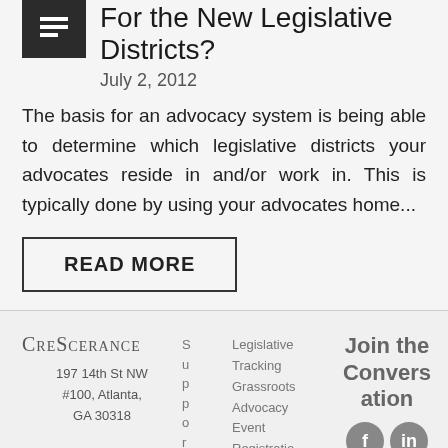For the New Legislative Districts?
July 2, 2012
The basis for an advocacy system is being able to determine which legislative districts your advocates reside in and/or work in. This is typically done by using your advocates home...
READ MORE
Crescerance | 197 14th St NW #100, Atlanta, GA 30318 | Support | Legislative Tracking | Grassroots Advocacy | Event Registration and Management | Join the Conversation